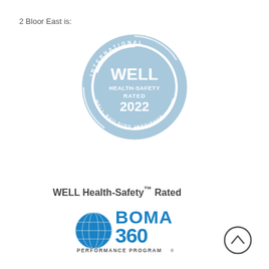2 Bloor East is:
[Figure (logo): WELL Health-Safety Rated 2022 circular badge in light blue, with text 'INTERNATIONAL WELL BUILDING INSTITUTE' around the ring and 'WELL HEALTH-SAFETY RATED 2022' in the center]
WELL Health-Safety™ Rated
[Figure (logo): BOMA 360 Performance Program logo in blue, with globe graphic on the left and bold '360' text]
[Figure (other): Circular up-arrow navigation button in dark grey outline]